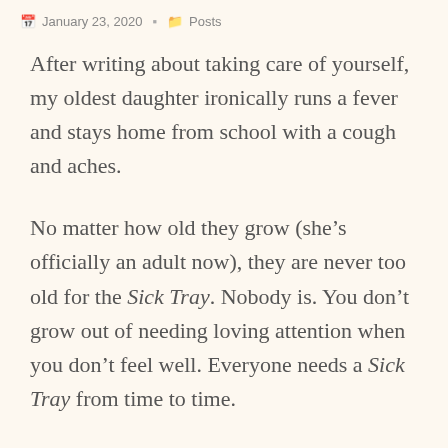January 23, 2020   Posts
After writing about taking care of yourself, my oldest daughter ironically runs a fever and stays home from school with a cough and aches.
No matter how old they grow (she’s officially an adult now), they are never too old for the Sick Tray. Nobody is. You don’t grow out of needing loving attention when you don’t feel well. Everyone needs a Sick Tray from time to time.